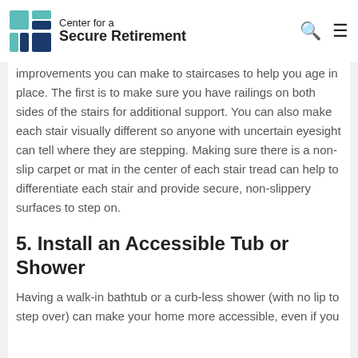Center for a Secure Retirement
improvements you can make to staircases to help you age in place. The first is to make sure you have railings on both sides of the stairs for additional support. You can also make each stair visually different so anyone with uncertain eyesight can tell where they are stepping. Making sure there is a non-slip carpet or mat in the center of each stair tread can help to differentiate each stair and provide secure, non-slippery surfaces to step on.
5. Install an Accessible Tub or Shower
Having a walk-in bathtub or a curb-less shower (with no lip to step over) can make your home more accessible, even if you